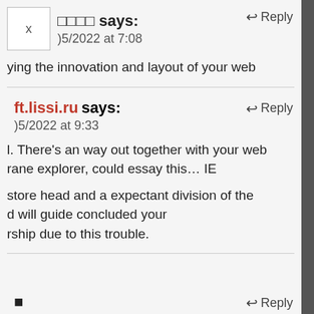□□□□ says:
)5/2022 at 7:08
ying the innovation and layout of your web
ft.lissi.ru says:
)5/2022 at 9:33
l. There's an way out together with your web rane explorer, could essay this… IE
store head and a expectant division of the d will guide concluded your rship due to this trouble.